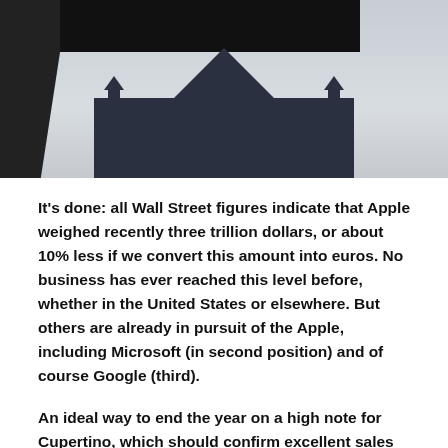[Figure (photo): Photograph of a dark building silhouette with a steeply pitched dark roof and small turrets/finials against a grey overcast sky. A large black rectangular element (possibly a sign or architectural feature) is visible at the top. The left side shows a dark angled structure.]
It's done: all Wall Street figures indicate that Apple weighed recently three trillion dollars, or about 10% less if we convert this amount into euros. No business has ever reached this level before, whether in the United States or elsewhere. But others are already in pursuit of the Apple, including Microsoft (in second position) and of course Google (third).
An ideal way to end the year on a high note for Cupertino, which should confirm excellent sales figures following Black Friday and the Christmas holidays. The iPhone 13 have indeed been offered under the tree in many countries, not to mention the advent of services following the deployment of the Apple One offer...